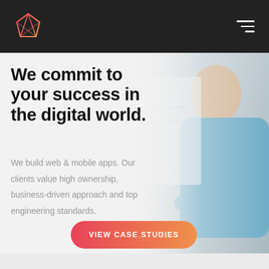[Figure (logo): Pink/red geometric diamond/gem logo outline in top-left of dark header bar]
[Figure (illustration): Hamburger/menu icon (three horizontal lines, right-aligned) in top-right of dark header bar]
We commit to your success in the digital world.
We build web & mobile apps. Our clients value high ownership, business-driven approach and top engineering standards.
[Figure (photo): Background photo of a man in a blue shirt writing on a whiteboard, cropped to right side of hero area]
VIEW CASE STUDIES